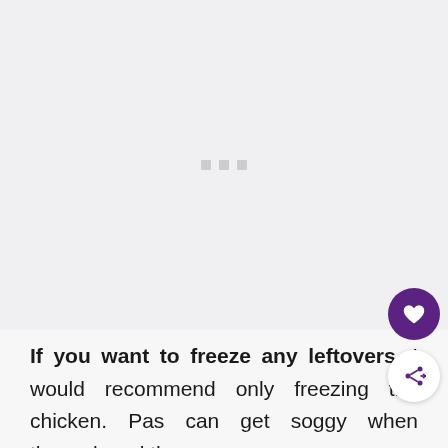[Figure (other): Advertisement placeholder area with three small gray dots/squares in the center on a light gray background]
If you want to freeze any leftovers, I would recommend only freezing the chicken. Pas can get soggy when thawed, and the cream